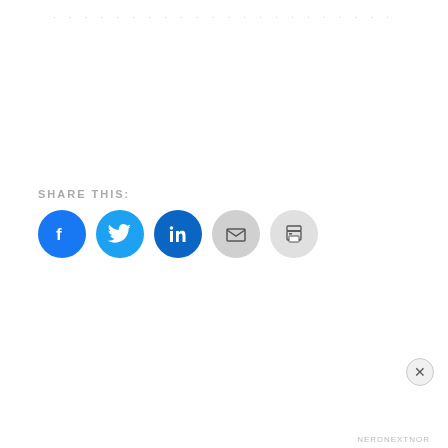. . . . . . . . . . . . . . . . . . . . . .
SHARE THIS:
[Figure (other): Social share icons: Facebook (blue circle), Twitter (light blue circle), LinkedIn (dark blue circle), Email (grey circle), Print (grey circle)]
Privacy & Cookies: This site uses cookies. By continuing to use this website, you agree to their use.
To find out more, including how to control cookies, see here: Cookie Policy
Close and accept
NERDNEXTNOR